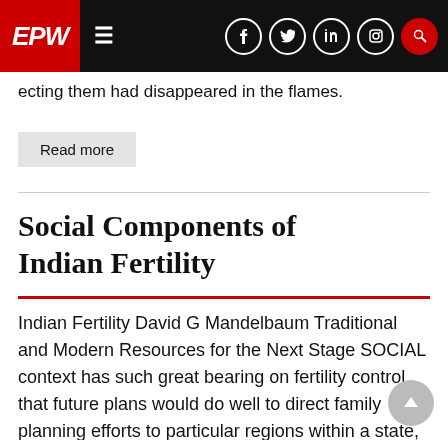EPW
ecting them had disappeared in the flames.
Read more
Social Components of Indian Fertility
Indian Fertility David G Mandelbaum Traditional and Modern Resources for the Next Stage SOCIAL context has such great bearing on fertility control that future plans would do well to direct family planning efforts to particular regions within a state, to allow for social differences among groups within the region, and to aim for